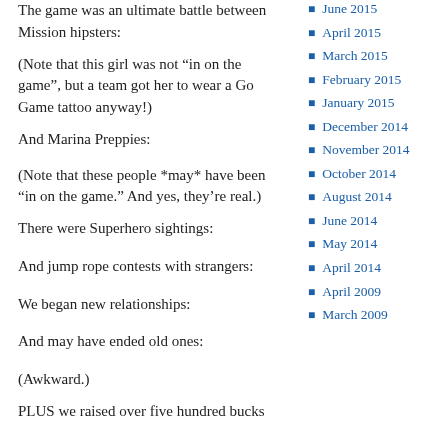The game was an ultimate battle between Mission hipsters:
(Note that this girl was not “in on the game”, but a team got her to wear a Go Game tattoo anyway!)
And Marina Preppies:
(Note that these people *may* have been “in on the game.” And yes, they’re real.)
There were Superhero sightings:
And jump rope contests with strangers:
We began new relationships:
And may have ended old ones:
(Awkward.)
PLUS we raised over five hundred bucks
June 2015
April 2015
March 2015
February 2015
January 2015
December 2014
November 2014
October 2014
August 2014
June 2014
May 2014
April 2014
April 2009
March 2009